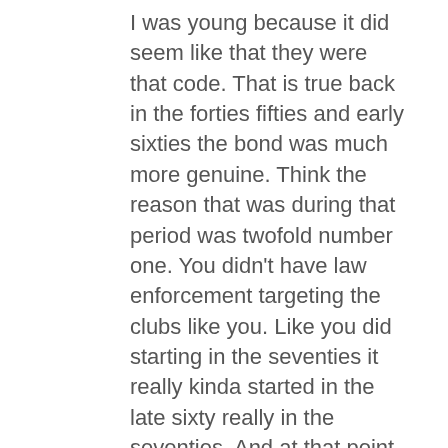I was young because it did seem like that they were that code. That is true back in the forties fifties and early sixties the bond was much more genuine. Think the reason that was during that period was twofold number one. You didn't have law enforcement targeting the clubs like you. Like you did starting in the seventies it really kinda started in the late sixty really in the seventies. And at that point they were targeting clubs using the Rico Act which is the same. Set of criminal laws they use against the Mafia so. What had been bar fights were now you? assaults. sonate racketeering or armed robbery native racketeering if they tried to take the guy's patch. And at that point, just like we saw the Mafia Utah guys, the respected guys